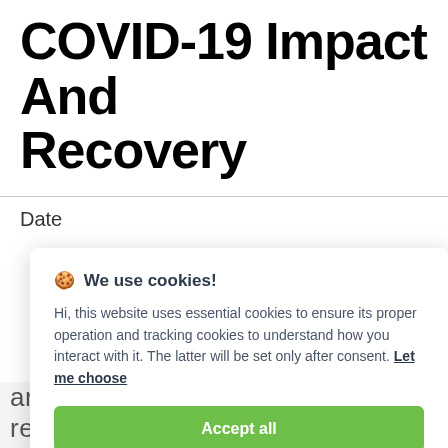COVID-19 Impact And Recovery
Date
🍪 We use cookies!

Hi, this website uses essential cookies to ensure its proper operation and tracking cookies to understand how you interact with it. The latter will be set only after consent. Let me choose

[Accept all] [Reject all]
announces the release of the report